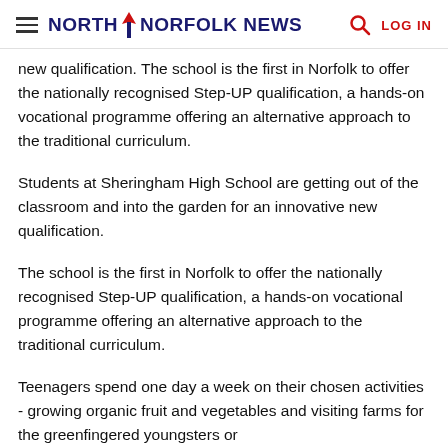NORTH NORFOLK NEWS — LOG IN
new qualification. The school is the first in Norfolk to offer the nationally recognised Step-UP qualification, a hands-on vocational programme offering an alternative approach to the traditional curriculum.
Students at Sheringham High School are getting out of the classroom and into the garden for an innovative new qualification.
The school is the first in Norfolk to offer the nationally recognised Step-UP qualification, a hands-on vocational programme offering an alternative approach to the traditional curriculum.
Teenagers spend one day a week on their chosen activities - growing organic fruit and vegetables and visiting farms for the greenfingered youngsters or